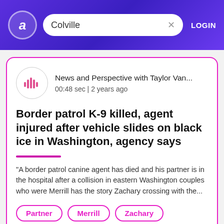Colville  LOGIN
News and Perspective with Taylor Van...
00:48 sec | 2 years ago
Border patrol K-9 killed, agent injured after vehicle slides on black ice in Washington, agency says
"A border patrol canine agent has died and his partner is in the hospital after a collision in eastern Washington couples who were Merrill has the story Zachary crossing with the...
Partner
Merrill
Zachary